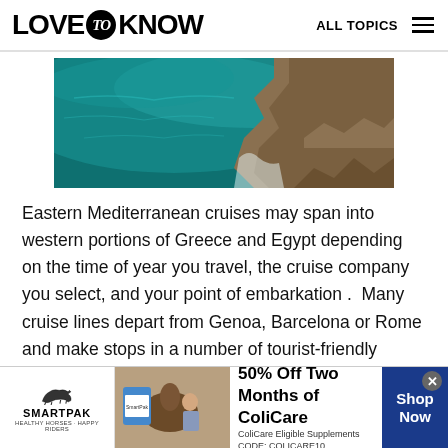LOVE to KNOW   ALL TOPICS
[Figure (photo): Aerial view of rocky Mediterranean coastline with teal-blue water]
Eastern Mediterranean cruises may span into western portions of Greece and Egypt depending on the time of year you travel, the cruise company you select, and your point of embarkation .  Many cruise lines depart from Genoa, Barcelona or Rome and make stops in a number of tourist-friendly Mediterranean destinations.
[Figure (infographic): SmartPak advertisement banner: 50% Off Two Months of ColiCare. ColiCare Eligible Supplements CODE: COLICARE10. Shop Now button.]